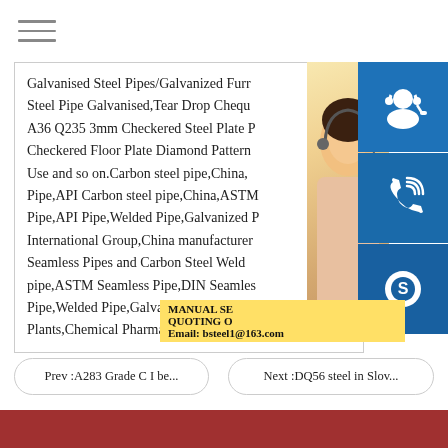[Figure (other): Hamburger menu icon (three horizontal lines)]
Galvanised Steel Pipes/Galvanized Furn Steel Pipe Galvanised,Tear Drop Chequ A36 Q235 3mm Checkered Steel Plate P Checkered Floor Plate Diamond Pattern Use and so on.Carbon steel pipe,China, Pipe,API Carbon steel pipe,China,ASTM Pipe,API Pipe,Welded Pipe,Galvanized P International Group,China manufacturer Seamless Pipes and Carbon Steel Weld pipe,ASTM Seamless Pipe,DIN Seamles Pipe,Welded Pipe,Galvanized Pipe,Use Plants,Chemical Pharmaceuticals Industry,
[Figure (photo): Photo of a young Asian woman with a headset/microphone, smiling, against a bright background]
[Figure (illustration): Blue square icon with white headset/customer service person silhouette]
[Figure (illustration): Blue square icon with white phone/signal waves icon]
[Figure (illustration): Blue square icon with white Skype logo]
MANUAL SE QUOTING O Email: bsteel1@163.com
Prev :A283 Grade C I be...
Next :DQ56 steel in Slov...
[Figure (photo): Red/brown colored strip or banner at the bottom of the page]